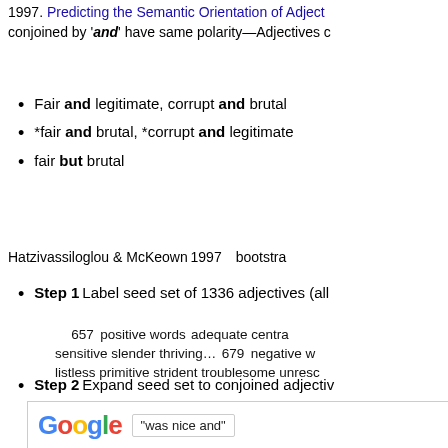1997. Predicting the Semantic Orientation of Adjectives conjoined by 'and' have same polarity—Adjectives c
Fair and legitimate, corrupt and brutal
*fair and brutal, *corrupt and legitimate
fair but brutal
Hatzivassiloglou & McKeown 1997 … bootstrap
Step 1: Label seed set of 1336 adjectives (all
657 positive words: adequate central … sensitive slender thriving… 679 negative words: listless primitive strident troublesome unreso
Step 2: Expand seed set to conjoined adjectiv
[Figure (screenshot): Google search screenshot showing search for 'was nice and', with results including TripAdvisor and Yahoo Answers links. Second result shows 'was nice and classy' circled.]